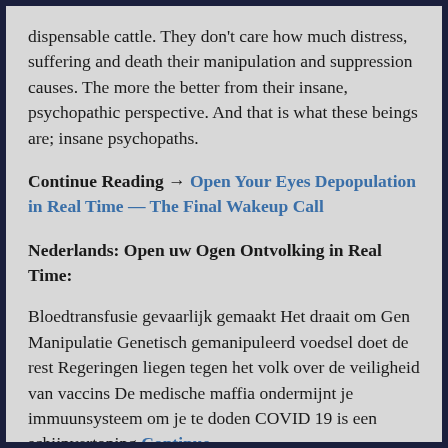dispensable cattle. They don't care how much distress, suffering and death their manipulation and suppression causes. The more the better from their insane, psychopathic perspective. And that is what these beings are; insane psychopaths.
Continue Reading → Open Your Eyes Depopulation in Real Time — The Final Wakeup Call
Nederlands: Open uw Ogen Ontvolking in Real Time:
Bloedtransfusie gevaarlijk gemaakt Het draait om Gen Manipulatie Genetisch gemanipuleerd voedsel doet de rest Regeringen liegen tegen het volk over de veiligheid van vaccins De medische maffia ondermijnt je immuunsysteem om je te doden COVID 19 is een schijnvertoning Continue